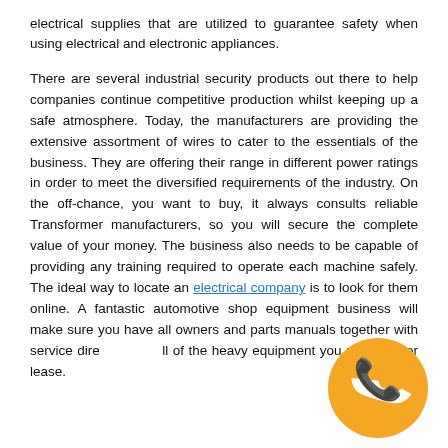electrical supplies that are utilized to guarantee safety when using electrical and electronic appliances.
There are several industrial security products out there to help companies continue competitive production whilst keeping up a safe atmosphere. Today, the manufacturers are providing the extensive assortment of wires to cater to the essentials of the business. They are offering their range in different power ratings in order to meet the diversified requirements of the industry. On the off-chance, you want to buy, it always consults reliable Transformer manufacturers, so you will secure the complete value of your money. The business also needs to be capable of providing any training required to operate each machine safely. The ideal way to locate an electrical company is to look for them online. A fantastic automotive shop equipment business will make sure you have all owners and parts manuals together with service dire... ll of the heavy equipment you purchase or lease.
[Figure (illustration): Orange circular phone/call button icon with white telephone handset symbol]